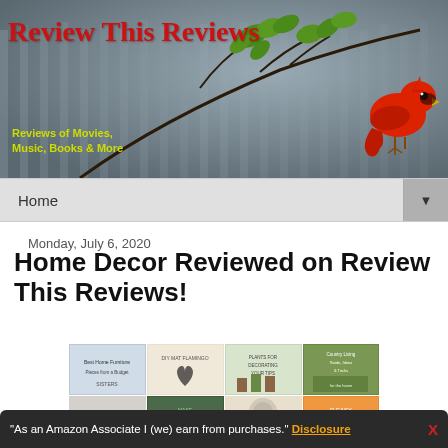[Figure (illustration): Website banner for 'Review This Reviews' showing a branch with green leaves and a red cardinal bird perched on it against a blurred grey background. Site title in red serif font, subtitle in yellow-green sans-serif font reading 'Reviews of Movies, Music, Books & More'.]
Home ▼
Monday, July 6, 2020
Home Decor Reviewed on Review This Reviews!
[Figure (photo): Collage of home decor related book covers and product images arranged in a grid.]
"As an Amazon Associate I (we) earn from purchases." Disclosure X